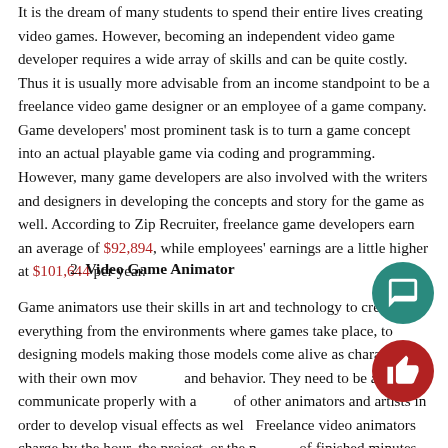It is the dream of many students to spend their entire lives creating video games. However, becoming an independent video game developer requires a wide array of skills and can be quite costly. Thus it is usually more advisable from an income standpoint to be a freelance video game designer or an employee of a game company. Game developers' most prominent task is to turn a game concept into an actual playable game via coding and programming. However, many game developers are also involved with the writers and designers in developing the concepts and story for the game as well. According to Zip Recruiter, freelance game developers earn an average of $92,894, while employees' earnings are a little higher at $101,644 per year.
2. Video Game Animator
Game animators use their skills in art and technology to create everything from the environments where games take place, to designing models making those models come alive as characters with their own movements and behavior. They need to be able to communicate properly with a team of other animators and artists in order to develop visual effects as well. Freelance video animators charge by the hour, the project, or the number of finished minutes of the animation. Zip Recruiter reports that freelance